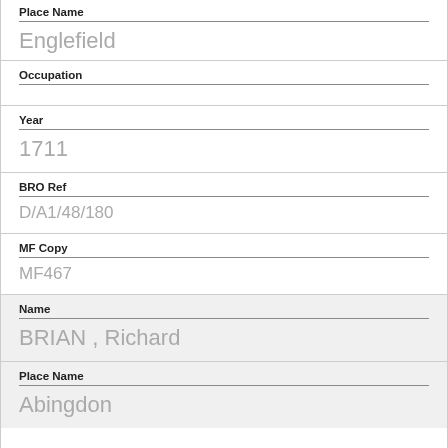Place Name
Englefield
Occupation
Year
1711
BRO Ref
D/A1/48/180
MF Copy
MF467
Name
BRIAN , Richard
Place Name
Abingdon